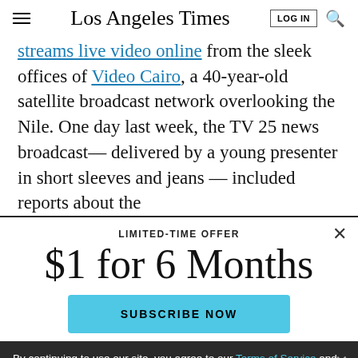Los Angeles Times
streams live video online from the sleek offices of Video Cairo, a 40-year-old satellite broadcast network overlooking the Nile. One day last week, the TV 25 news broadcast— delivered by a young presenter in short sleeves and jeans — included reports about the
LIMITED-TIME OFFER
$1 for 6 Months
SUBSCRIBE NOW
By continuing to use our site, you agree to our Terms of Service and Privacy Policy. You can learn more about how we use cookies by reviewing our Privacy Policy. Close